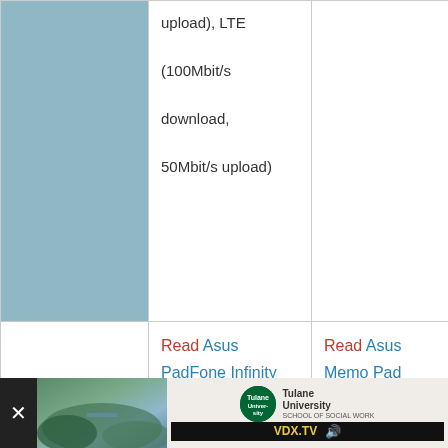|  |  |  |
| --- | --- | --- |
| [image] | upload), LTE (100Mbit/s download, 50Mbit/s upload) |  |
|  | Read Asus PadFone Infinity reviews. | Read Asus Memo Pad HD7 reviews. |
|  | Compare Asus PadFone Infinity: • Google Nexus 7 • Asus | Compare Asus Memo Pad HD7: |
[Figure (screenshot): Advertisement bar at bottom of page showing an aerial landscape photo, Tulane University School of Social Work logo, and VDX.TV branding with close button.]